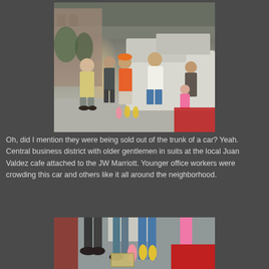[Figure (photo): Outdoor street scene showing several people gathered around a white vehicle (trunk open), with condiment bottles on the ground. People include a man in a yellow shirt, a person in an orange shirt, a person in a white shirt, and others. A child in a pink outfit is visible on the right side. Red table or surface visible at bottom right.]
Oh, did I mention they were being sold out of the trunk of a car? Yeah. Central business district with older gentlemen in suits at the local Juan Valdez cafe attached to the JW Marriott. Younger office workers were crowding this car and others like it all around the neighborhood.
[Figure (photo): Close-up of the same street food scene, showing the condiment bottles (pink and yellow squeeze bottles), food containers, and the lower portions of people standing around the vehicle trunk. Red surface visible at right.]